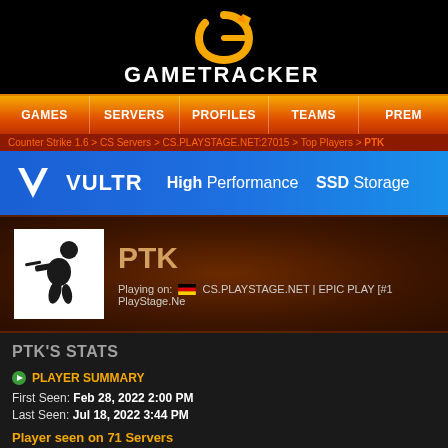[Figure (logo): GameTracker logo with G icon in orange/gold and white text GAMETRACKER]
GAMES | SERVERS | PROFILES | TEAMS | PREM
Counter Strike 1.6 > CS Servers > CS.PLAYSTAGE.NET:27015 > Top Players > PTK
[Figure (logo): VULTR banner - High Performance SSD Storage]
[Figure (photo): Counter-Strike player silhouette avatar for PTK]
PTK
Playing on: 🇩🇪 CS.PLAYSTAGE.NET | EPIC PLAY [#1 PlayStage.Ne
PTK'S STATS
PLAYER SUMMARY
First Seen: Feb 28, 2022 2:00 PM
Last Seen: Jul 18, 2022 3:44 PM
Player seen on 71 Servers
Player seen on 20 CS Servers